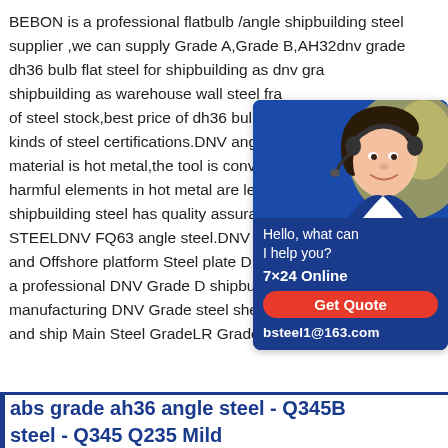BEBON is a professional flatbulb /angle shipbuilding steel supplier ,we can supply Grade A,Grade B,AH32dnv grade dh36 bulb flat steel for shipbuilding as dnv grade shipbuilding as warehouse wall steel frame of steel stock,best price of dh36 bulb flat kinds of steel certifications.DNV angle sh material is hot metal,the tool is converter harmful elements in hot metal are less,th shipbuilding steel has quality assurance. STEELDNV FQ63 angle steel.DNV FQ63 and Offshore platform Steel plate DNV g a professional DNV Grade D shipbuilding steel steel mill for manufacturing DNV Grade steel sheets to worldwide shipyard and ship Main Steel GradeLR Grade A,LR DH36 .Read More
[Figure (photo): Chat widget with photo of woman wearing headset, blue background, text: Hello, what can I help you? 7x24 Online, Get Quote button (red), bsteel1@163.com]
abs grade ah36 angle steel - Q345B steel - Q345 Q235 Mild